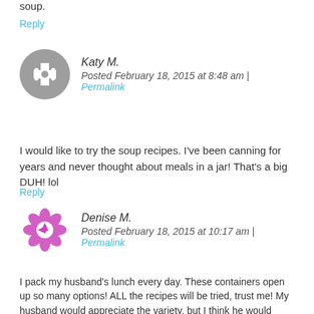soup.
Reply
Katy M.
Posted February 18, 2015 at 8:48 am | Permalink
I would like to try the soup recipes. I've been canning for years and never thought about meals in a jar! That's a big DUH! lol
Reply
Denise M.
Posted February 18, 2015 at 10:17 am | Permalink
I pack my husband's lunch every day. These containers open up so many options! ALL the recipes will be tried, trust me! My husband would appreciate the variety, but I think he would especially liek the roasted sweet potato and chickpea salad.
Reply